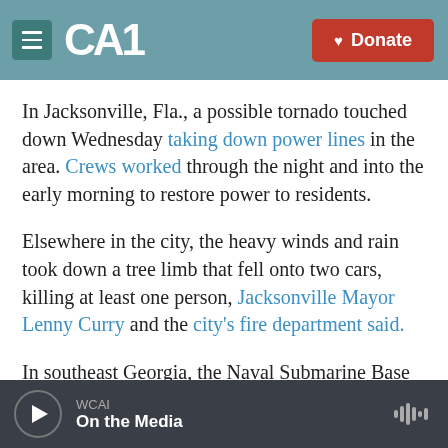CAI | Donate
In Jacksonville, Fla., a possible tornado touched down Wednesday taking down power lines in the area. Crews worked through the night and into the early morning to restore power to residents.
Elsewhere in the city, the heavy winds and rain took down a tree limb that fell onto two cars, killing at least one person, Jacksonville Mayor Lenny Curry and the city's fire department said.
In southeast Georgia, the Naval Submarine Base Kings Bay reported that at approximately 5:50 p.m. Wednesday a tornado touched down on the base
WCAI | On the Media